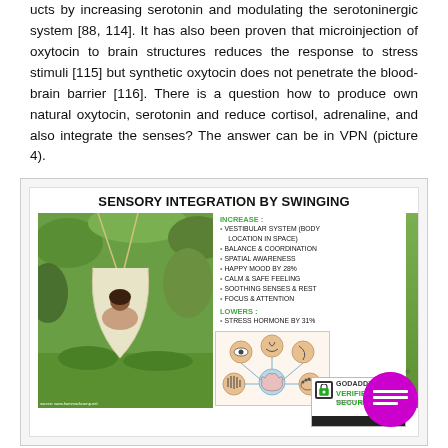ucts by increasing serotonin and modulating the serotoninergic system [88, 114]. It has also been proven that microinjection of oxytocin to brain structures reduces the response to stress stimuli [115] but synthetic oxytocin does not penetrate the blood-brain barrier [116]. There is a question how to produce own natural oxytocin, serotonin and reduce cortisol, adrenaline, and also integrate the senses? The answer can be in VPN (picture 4).
[Figure (infographic): Infographic titled 'SENSORY INTEGRATION BY SWINGING'. Shows a photo of a person in a hammock/swing in a green forest setting. Lists benefits: INCREASE: Vestibular system (body location in space), Balance & coordination, Spatial awareness, Happy mood by 28%, Calm & safe feeling, Soothing senses & rest, Focus & attention. LOWERS: Stress hormone by 31%. Also shows a senses diagram with sensory icons and a GoDaddy Verified & Secured badge.]